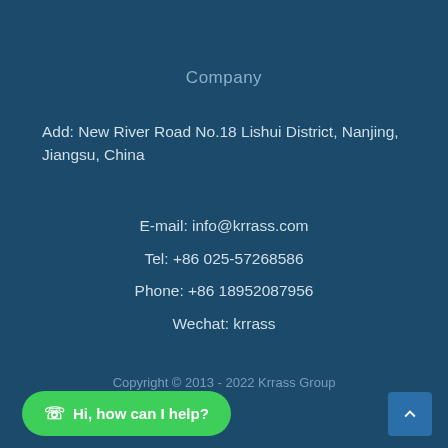Company
Add: New River Road No.18 Lishui District, Nanjing, Jiangsu, China
E-mail: info@krrass.com
Tel: +86 025-57268586
Phone: +86 18952087956
Wechat: krrass
Copyright © 2013 - 2022 Krrass Group